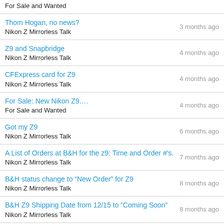For Sale and Wanted
Thom Hogan, no news?
Nikon Z Mirrorless Talk
3 months ago
Z9 and Snapbridge
Nikon Z Mirrorless Talk
4 months ago
CFExpress card for Z9
Nikon Z Mirrorless Talk
4 months ago
For Sale: New Nikon Z9….
For Sale and Wanted
4 months ago
Got my Z9
Nikon Z Mirrorless Talk
6 months ago
A List of Orders at B&H for the z9: Time and Order #'s.
Nikon Z Mirrorless Talk
7 months ago
B&H status change to “New Order” for Z9
Nikon Z Mirrorless Talk
8 months ago
B&H Z9 Shipping Date from 12/15 to “Coming Soon”
Nikon Z Mirrorless Talk
8 months ago